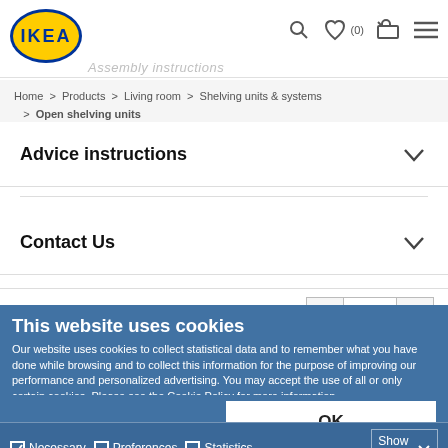[Figure (logo): IKEA logo - yellow oval with blue IKEA text on blue background]
Assembly instructions
Home > Products > Living room > Shelving units & systems > Open shelving units
Advice instructions
Contact Us
Quantity: 1
This website uses cookies
Our website uses cookies to collect statistical data and to remember what you have done while browsing and to collect this information for the purpose of improving our performance and personalized advertising. You may accept the use of all or only certain cookies. Please see the Cookie Policy for more information.
OK
Necessary
Preferences
Statistics
Marketing
Show details